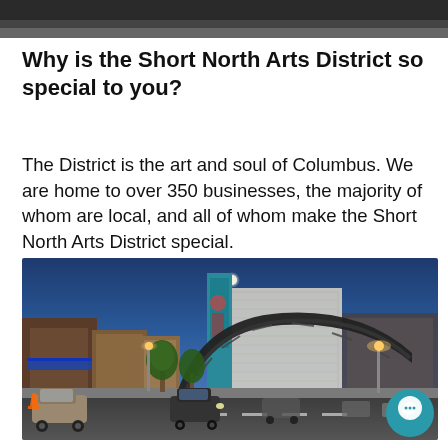[Figure (photo): Top portion of a photo, dark/shadowed — likely a cropped header image.]
Why is the Short North Arts District so special to you?
The District is the art and soul of Columbus. We are home to over 350 businesses, the majority of whom are local, and all of whom make the Short North Arts District special.
[Figure (photo): Street-level photo of the Short North Arts District at dusk/evening. Shows High Street with cars, brick storefronts, large decorative arch, a tall building with a colorful mural, street lights glowing amber, trees with green foliage, and a blue evening sky with a bright moon. A teal chat button is overlaid in the bottom-right corner.]